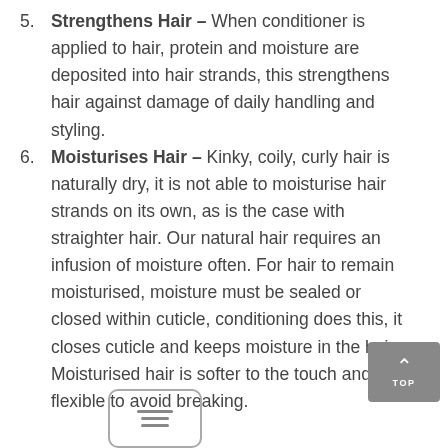Strengthens Hair – When conditioner is applied to hair, protein and moisture are deposited into hair strands, this strengthens hair against damage of daily handling and styling.
Moisturises Hair – Kinky, coily, curly hair is naturally dry, it is not able to moisturise hair strands on its own, as is the case with straighter hair. Our natural hair requires an infusion of moisture often. For hair to remain moisturised, moisture must be sealed or closed within cuticle, conditioning does this, it closes cuticle and keeps moisture in the hair. Moisturised hair is softer to the touch and flexible to avoid breaking.
[Figure (other): Small icon box with three horizontal lines resembling a menu/document icon]